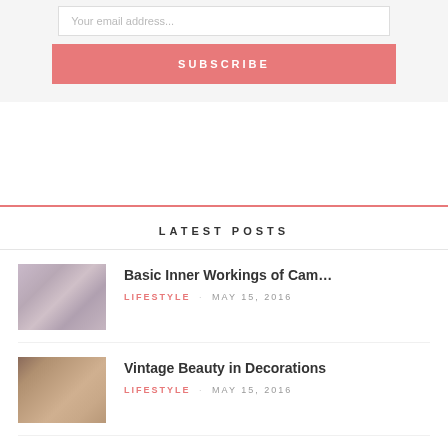Your email address...
SUBSCRIBE
LATEST POSTS
Basic Inner Workings of Cam... — LIFESTYLE — MAY 15, 2016
Vintage Beauty in Decorations — LIFESTYLE — MAY 15, 2016
My Shiny New Backpack — FASHION — MAY 15, 2016